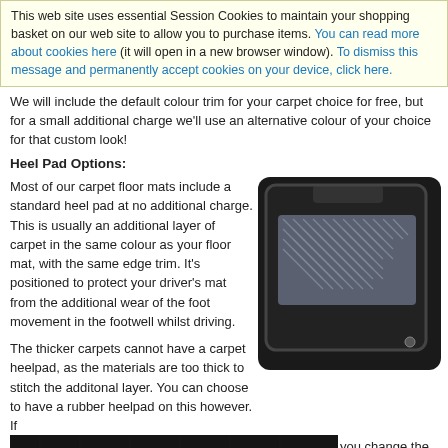This web site uses essential Session Cookies to maintain your shopping basket on our web site to allow you to purchase items. You can read more about cookies here (it will open in a new browser window). To dismiss this message and permanently accept cookies on your device, click here.
We will include the default colour trim for your carpet choice for free, but for a small additional charge we'll use an alternative colour of your choice for that custom look!
Heel Pad Options:
Most of our carpet floor mats include a standard heel pad at no additional charge. This is usually an additional layer of carpet in the same colour as your floor mat, with the same edge trim. It's positioned to protect your driver's mat from the additional wear of the foot movement in the footwell whilst driving.
[Figure (photo): Car floor mat with metallic diamond plate heel pad on black carpet]
The thicker carpets cannot have a carpet heelpad, as the materials are too thick to stitch the additonal layer. You can choose to have a rubber heelpad on this however. If
[Figure (photo): Close-up preview of black carpet texture - A preview of the options you have chosen]
you change the material
pler look of a plain e cost is the same.
We also offer a Rubber heel pad on all carpet qualities. This off superior protection for your mat. This is a cost option as displayed
[Figure (logo): reCAPTCHA logo with Privacy - Terms text]